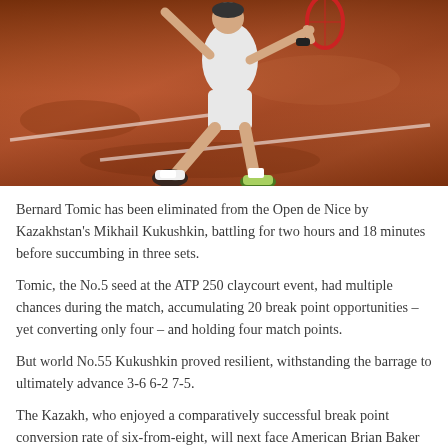[Figure (photo): A tennis player on a clay court mid-motion, wearing white clothing with a Nike shoe visible, holding a tennis racket. The clay court is orange-red with white court lines visible.]
Bernard Tomic has been eliminated from the Open de Nice by Kazakhstan's Mikhail Kukushkin, battling for two hours and 18 minutes before succumbing in three sets.
Tomic, the No.5 seed at the ATP 250 claycourt event, had multiple chances during the match, accumulating 20 break point opportunities – yet converting only four – and holding four match points.
But world No.55 Kukushkin proved resilient, withstanding the barrage to ultimately advance 3-6 6-2 7-5.
The Kazakh, who enjoyed a comparatively successful break point conversion rate of six-from-eight, will next face American Brian Baker in the quarterfinals.
But in the...